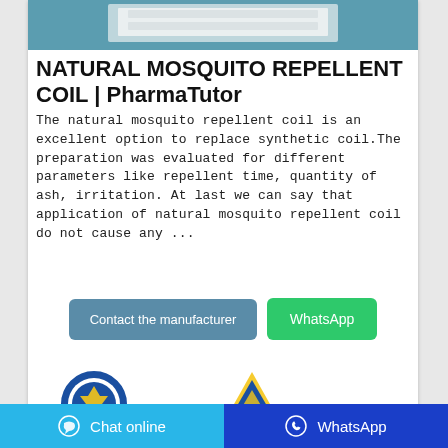[Figure (photo): Product photo showing white mosquito coil packaging on teal/blue background]
NATURAL MOSQUITO REPELLENT COIL | PharmaTutor
The natural mosquito repellent coil is an excellent option to replace synthetic coil.The preparation was evaluated for different parameters like repellent time, quantity of ash, irritation. At last we can say that application of natural mosquito repellent coil do not cause any ...
[Figure (logo): Blue circular badge logo on left]
[Figure (logo): Yellow and blue arrow/chevron logo on right]
Chat online   WhatsApp